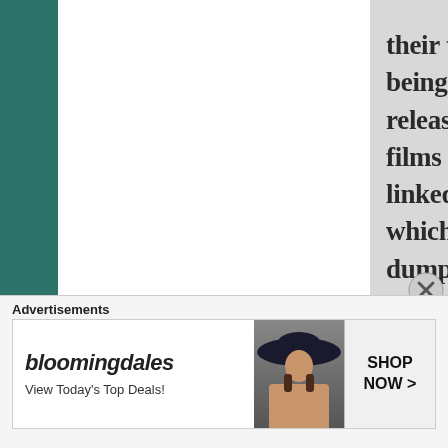their time and fame and all that being wasted on a streaming release is really bad for Hindi films in general. the article I linked to also mentioned Bazaar, which the producers wanted to dump on Netflix because they had a hard time selling it, but Saif held firm. And it released in theaters and made a profit. These movies are getting funding, being made, and making
Advertisements
[Figure (other): Bloomingdales advertisement banner with text 'bloomingdales', 'View Today's Top Deals!', a woman in a wide-brim hat, and a 'SHOP NOW >' button]